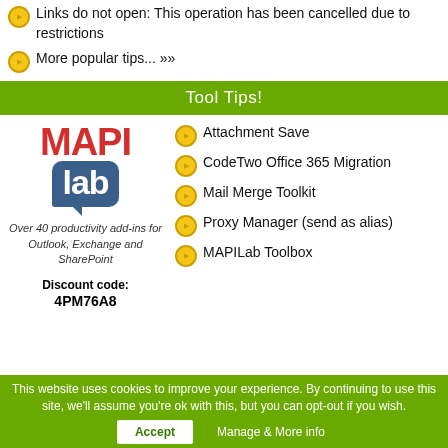Links do not open: This operation has been cancelled due to restrictions
More popular tips... »»
Tool Tips!
[Figure (logo): MAPILab logo with red MAPI text and blue speech bubble containing white lab text]
Over 40 productivity add-ins for Outlook, Exchange and SharePoint
Discount code: 4PM76A8
Attachment Save
CodeTwo Office 365 Migration
Mail Merge Toolkit
Proxy Manager (send as alias)
MAPILab Toolbox
This website uses cookies to improve your experience. By continuing to use this site, we'll assume you're ok with this, but you can opt-out if you wish.